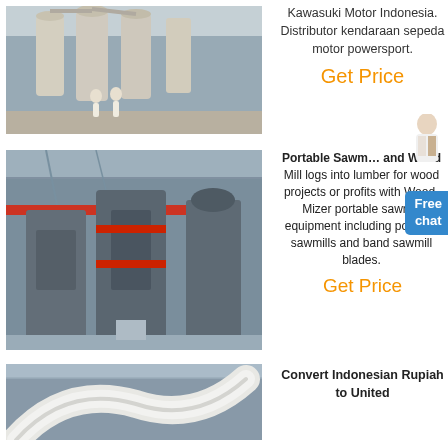[Figure (photo): Industrial milling facility interior showing large cyclone separators and workers on a factory floor]
Kawasuki Motor Indonesia. Distributor kendaraan sepeda motor powersport.
Get Price
[Figure (photo): Industrial heavy machinery equipment including large presses and vertical mills in a factory warehouse]
Portable Sawm... and Wood
Mill logs into lumber for wood projects or profits with Wood-Mizer portable sawmill equipment including portable sawmills and band sawmill blades.
Get Price
[Figure (photo): Interior shot of industrial machinery with curved white ductwork or piping]
Convert Indonesian Rupiah to United